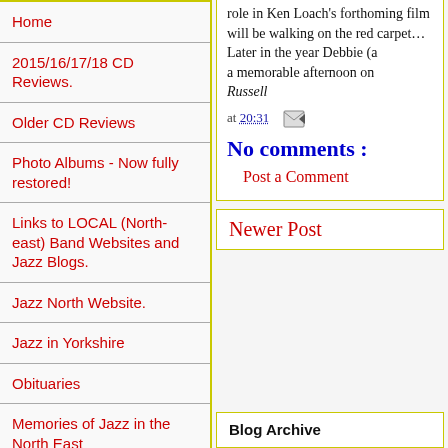Home
2015/16/17/18 CD Reviews.
Older CD Reviews
Photo Albums - Now fully restored!
Links to LOCAL (North-east) Band Websites and Jazz Blogs.
Jazz North Website.
Jazz in Yorkshire
Obituaries
Memories of Jazz in the North East
Complete Discs To Die For To Date
What They Say
role in Ken Loach's forthroming film will be walking on the red carpet... Later in the year Debbie (a memorable afternoon on Russell
at 20:31
No comments :
Post a Comment
Newer Post
Blog Archive